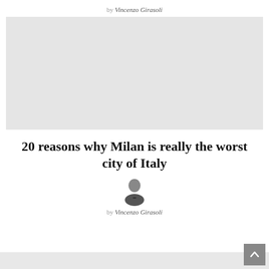by Vincenzo Girasoli
[Figure (photo): Large placeholder hero image with light gray background]
20 reasons why Milan is really the worst city of Italy
[Figure (photo): Small circular author avatar photo of a man in a suit]
by Vincenzo Girasoli